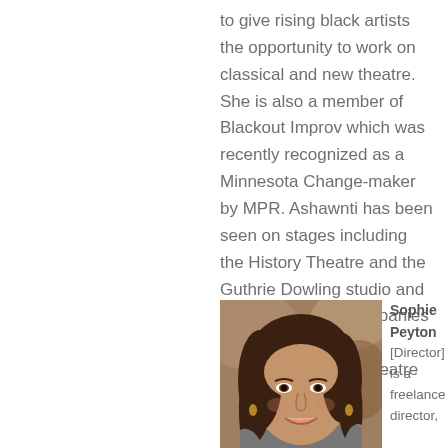to give rising black artists the opportunity to work on classical and new theatre. She is also a member of Blackout Improv which was recently recognized as a Minnesota Change-maker by MPR. Ashawnti has been seen on stages including the History Theatre and the Guthrie Dowling studio and has worked with companies including Full Circle Theatre, Sandbox Theatre and Combustible.
[Figure (photo): Headshot photo of Sophie Peyton, a young woman with long dark wavy hair, smiling, wearing earrings, against a blurred background.]
Sophie Peyton [Director] is a freelance director,